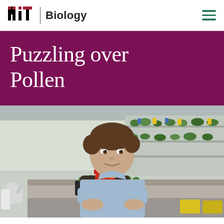MIT Biology
Puzzling over Pollen
[Figure (photo): A young man in a light blue shirt working with small plants in a greenhouse setting, smiling at the camera. Shelves of seedlings and plants are visible in the background.]